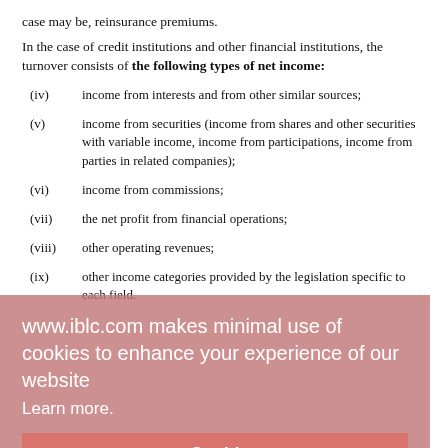case may be, reinsurance premiums.
In the case of credit institutions and other financial institutions, the turnover consists of the following types of net income:
(iv) income from interests and from other similar sources;
(v) income from securities (income from shares and other securities with variable income, income from participations, income from parties in related companies);
(vi) income from commissions;
(vii) the net profit from financial operations;
(viii) other operating revenues;
(ix) other income categories provided by the legislation specific to each field.